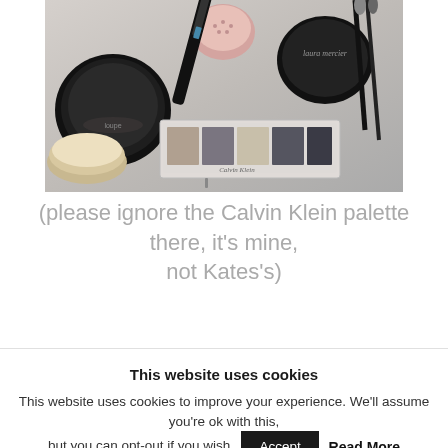[Figure (photo): Overhead flat-lay photo of makeup products on a light surface, including a large dark powder compact, a loose powder jar, a pink mineral powder container, a mascara wand, a Laura Mercier dark compact, makeup brushes, and a Calvin Klein eyeshadow palette in neutral shades.]
(please ignore the Calvin Klein palette there, it’s mine, not Kates’s)
This website uses cookies
This website uses cookies to improve your experience. We'll assume you're ok with this, but you can opt-out if you wish.